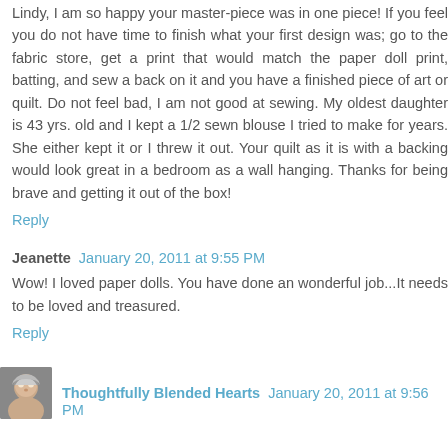Lindy, I am so happy your master-piece was in one piece! If you feel you do not have time to finish what your first design was; go to the fabric store, get a print that would match the paper doll print, batting, and sew a back on it and you have a finished piece of art or quilt. Do not feel bad, I am not good at sewing. My oldest daughter is 43 yrs. old and I kept a 1/2 sewn blouse I tried to make for years. She either kept it or I threw it out. Your quilt as it is with a backing would look great in a bedroom as a wall hanging. Thanks for being brave and getting it out of the box!
Reply
Jeanette  January 20, 2011 at 9:55 PM
Wow! I loved paper dolls. You have done an wonderful job...It needs to be loved and treasured.
Reply
Thoughtfully Blended Hearts  January 20, 2011 at 9:56 PM